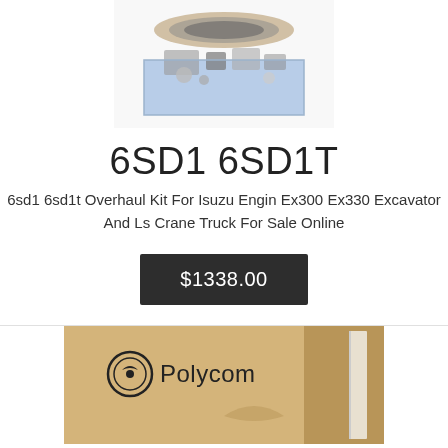[Figure (photo): Product photo of a gasket/overhaul kit set laid out on blue packaging]
6SD1 6SD1T
6sd1 6sd1t Overhaul Kit For Isuzu Engin Ex300 Ex330 Excavator And Ls Crane Truck For Sale Online
$1338.00
[Figure (photo): Polycom branded product box, tan/gold color, with Polycom logo and partial product visible]